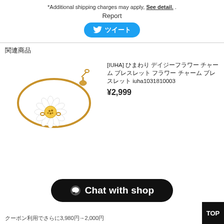*Additional shipping charges may apply, See detail. .
Report
[Figure (other): Twitter share button with bird icon and Japanese text]
関連商品
[Figure (photo): Gold daisy flower charm bracelet with white enamel petals on a gold chain]
[IUHA] ひまわり デイジーフラワー チャーム ブレスレット フラワー チャーム ブレスレット iuha1031810003
¥2,999
[Figure (other): Chat with shop button, black rounded rectangle]
クーポン利用でさらに3,980円→2,000円